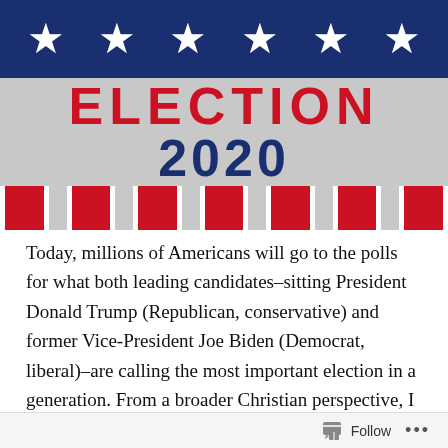[Figure (illustration): Election 2020 banner with blue bar and white stars at top, gray bar with 'ELECTION' in red and '2020' in navy blue, and red/white vertical stripes at the bottom.]
Today, millions of Americans will go to the polls for what both leading candidates–sitting President Donald Trump (Republican, conservative) and former Vice-President Joe Biden (Democrat, liberal)–are calling the most important election in a generation. From a broader Christian perspective, I have written about political moments before,